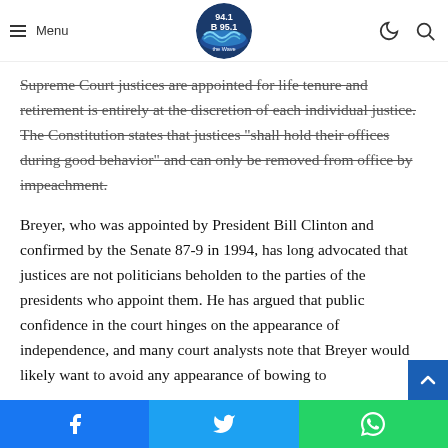Menu [logo: 94.1 B 95.1 The Wave]
is doubly outrageous think of its members as junior league politicians
Supreme Court justices are appointed for life tenure and retirement is entirely at the discretion of each individual justice. The Constitution states that justices “shall hold their offices during good behavior” and can only be removed from office by impeachment.
Breyer, who was appointed by President Bill Clinton and confirmed by the Senate 87-9 in 1994, has long advocated that justices are not politicians beholden to the parties of the presidents who appoint them. He has argued that public confidence in the court hinges on the appearance of independence, and many court analysts note that Breyer would likely want to avoid any appearance of bowing to
[Facebook] [Twitter] [WhatsApp]